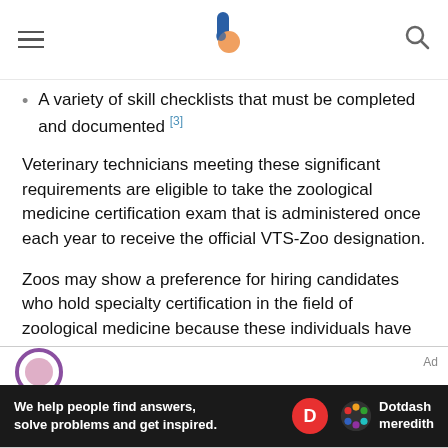Balancethingwork (logo)
A variety of skill checklists that must be completed and documented [3]
Veterinary technicians meeting these significant requirements are eligible to take the zoological medicine certification exam that is administered once each year to receive the official VTS-Zoo designation.
Zoos may show a preference for hiring candidates who hold specialty certification in the field of zoological medicine because these individuals have demonstrated significant skill and ability in the field.
[Figure (other): Advertisement banner: Dotdash Meredith ad with text 'We help people find answers, solve problems and get inspired.']